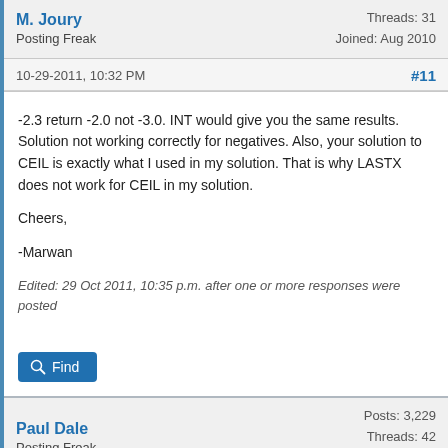M. Joury
Posting Freak
Threads: 31
Joined: Aug 2010
10-29-2011, 10:32 PM
#11
-2.3 return -2.0 not -3.0. INT would give you the same results. Solution not working correctly for negatives. Also, your solution to CEIL is exactly what I used in my solution. That is why LASTX does not work for CEIL in my solution.

Cheers,

-Marwan
Edited: 29 Oct 2011, 10:35 p.m. after one or more responses were posted
Find
Paul Dale
Posting Freak
Posts: 3,229
Threads: 42
Joined: Jul 2006
10-29-2011, 10:34 PM
#12